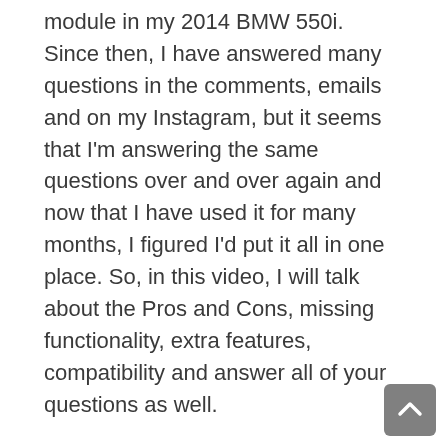module in my 2014 BMW 550i. Since then, I have answered many questions in the comments, emails and on my Instagram, but it seems that I'm answering the same questions over and over again and now that I have used it for many months, I figured I'd put it all in one place. So, in this video, I will talk about the Pros and Cons, missing functionality, extra features, compatibility and answer all of your questions as well.
I'm making this video so that you can make an informed decision and not waste your money, so hit that like button if you like the video and leave your comments down below with any additional questions.
When I first installed this aftermarket Apple CarPlay on my BMW, I got lots of people asking about the quality and all of the features. Of course, at that time I have only